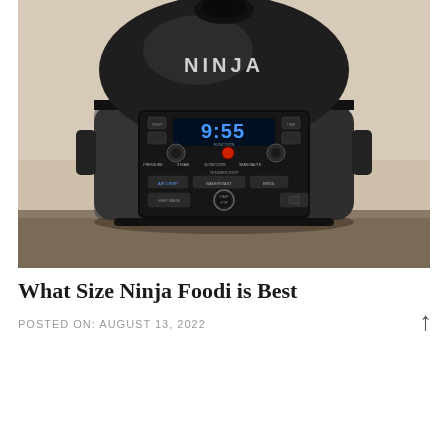[Figure (photo): A Ninja Foodi multi-cooker/pressure cooker appliance sitting on a dark countertop. The appliance is dark gray/black with a digital display showing '9:55', multiple function buttons, and 'NINJA' branding on the top dome lid.]
What Size Ninja Foodi is Best
POSTED ON: AUGUST 13, 2022